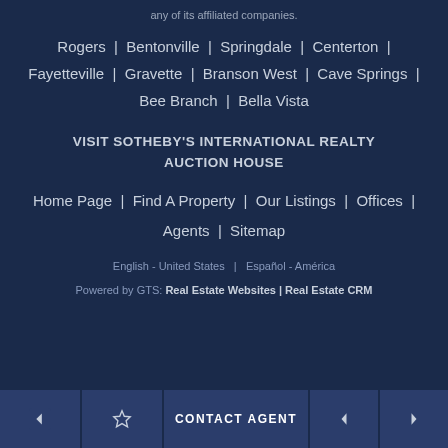any of its affiliated companies.
Rogers | Bentonville | Springdale | Centerton | Fayetteville | Gravette | Branson West | Cave Springs | Bee Branch | Bella Vista
VISIT SOTHEBY'S INTERNATIONAL REALTY
AUCTION HOUSE
Home Page | Find A Property | Our Listings | Offices | Agents | Sitemap
English - United States | Español - América
Powered by GTS: Real Estate Websites | Real Estate CRM
CONTACT AGENT